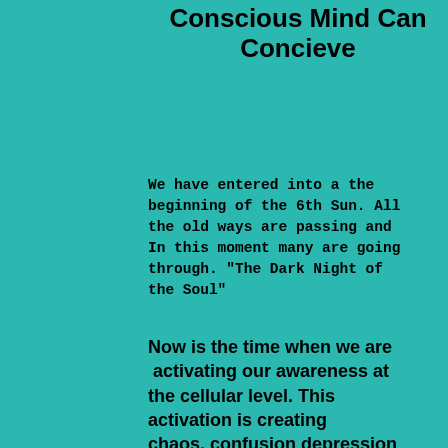Conscious Mind Can Concieve
We have entered into a the beginning of the 6th Sun. All the old ways are passing and In this moment many are going through. "The Dark Night of the Soul"
Now is the time when we are activating our awareness at the cellular level. This activation is creating chaos, confusion depression and for some even death.